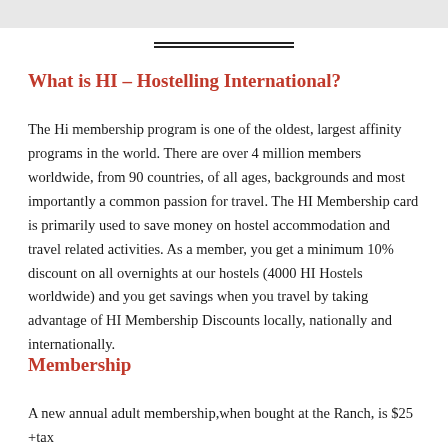What is HI – Hostelling International?
The Hi membership program is one of the oldest, largest affinity programs in the world. There are over 4 million members worldwide, from 90 countries, of all ages, backgrounds and most importantly a common passion for travel. The HI Membership card is primarily used to save money on hostel accommodation and travel related activities. As a member, you get a minimum 10% discount on all overnights at our hostels (4000 HI Hostels worldwide) and you get savings when you travel by taking advantage of HI Membership Discounts locally, nationally and internationally.
Membership
A new annual adult membership,when bought at the Ranch, is $25 +tax or get a lifetime membership for $175 +tax